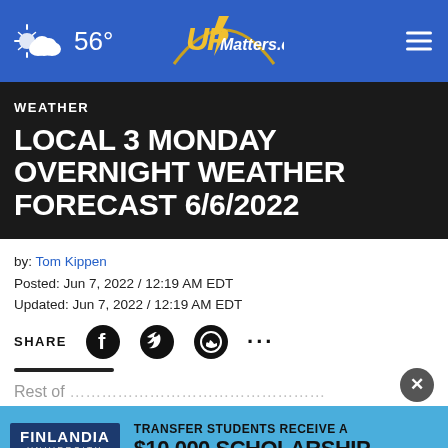56° UPMatters.com
WEATHER
LOCAL 3 MONDAY OVERNIGHT WEATHER FORECAST 6/6/2022
by: Tom Kippen
Posted: Jun 7, 2022 / 12:19 AM EDT
Updated: Jun 7, 2022 / 12:19 AM EDT
SHARE
Rest of ...
Temperatures will be in the 40s. Winds becoming west